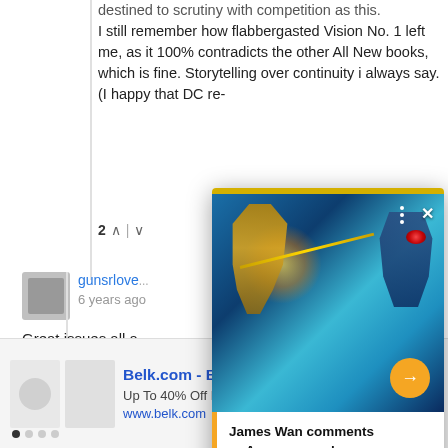destined to scrutiny with competition as this. I still remember how flabbergasted Vision No. 1 left me, as it 100% contradicts the other All New books, which is fine. Storytelling over continuity i always say. (I happy that DC re-
2 ^ | v
gunsrlove
6 years ago
Great issues all a... others inbetween... perhaps introduc... something new,
My only major co... probable villains: I hope they aren't back to being crappy
[Figure (screenshot): Popup overlay showing Aquaman and the Lost Kingdom movie artwork with two superhero/villain figures in an underwater battle scene. Yellow top progress bar. Close button (X) top right. Three-dot menu icon. Orange circular arrow button bottom right. White caption box at bottom with orange left border.]
James Wan comments onAquaman and theLostKingdom delay
[Figure (screenshot): Advertisement banner for Belk.com - Belk® - Official Site. Shows two children's clothing items (shirt and hoodie). Text: Up To 40% Off Kids & Baby Apparel. www.belk.com. Navigation dots and blue circular arrow button on right.]